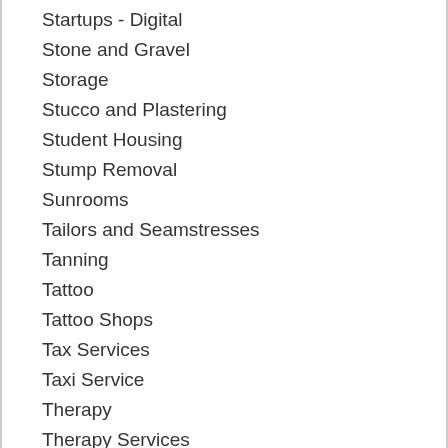Startups - Digital
Stone and Gravel
Storage
Stucco and Plastering
Student Housing
Stump Removal
Sunrooms
Tailors and Seamstresses
Tanning
Tattoo
Tattoo Shops
Tax Services
Taxi Service
Therapy
Therapy Services